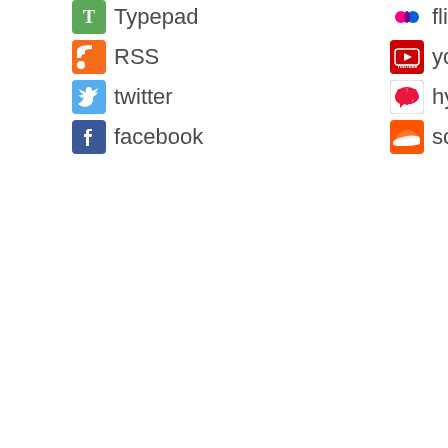Typepad
RSS
twitter
facebook
flickr
youtube
hypem
soundcld